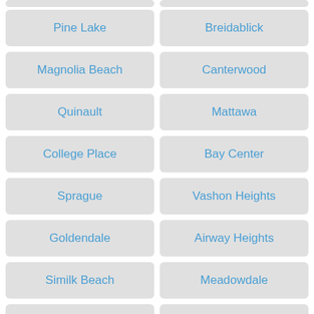Pine Lake
Breidablick
Magnolia Beach
Canterwood
Quinault
Mattawa
College Place
Bay Center
Sprague
Vashon Heights
Goldendale
Airway Heights
Similk Beach
Meadowdale